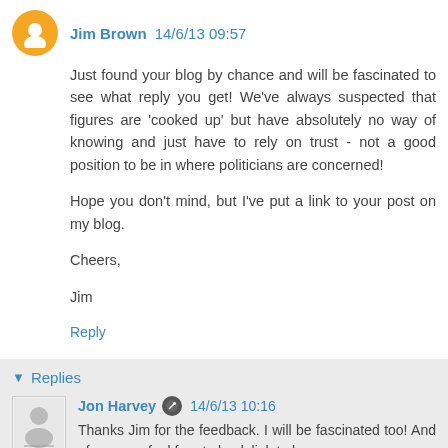Jim Brown  14/6/13 09:57
Just found your blog by chance and will be fascinated to see what reply you get! We've always suspected that figures are 'cooked up' but have absolutely no way of knowing and just have to rely on trust - not a good position to be in where politicians are concerned!

Hope you don't mind, but I've put a link to your post on my blog.

Cheers,

Jim
Reply
Replies
Jon Harvey  14/6/13 10:16
Thanks Jim for the feedback. I will be fascinated too! And of course - feel free to back link to here.